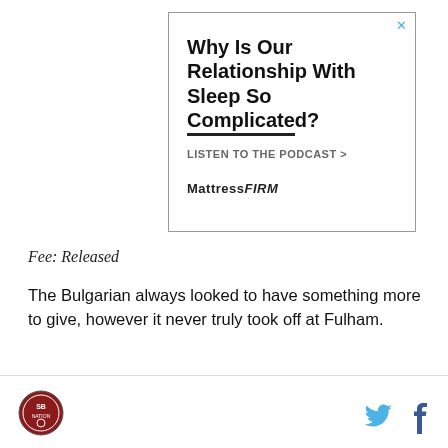[Figure (other): Advertisement for MattressF FIRM podcast. Headline: Why Is Our Relationship With Sleep So Complicated? Subtext: LISTEN TO THE PODCAST >. Brand: MATTRESS FIRM.]
Fee: Released
The Bulgarian always looked to have something more to give, however it never truly took off at Fulham.
[Figure (logo): Sports website logo circular badge bottom left]
[Figure (other): Twitter and Facebook social media icons in footer]